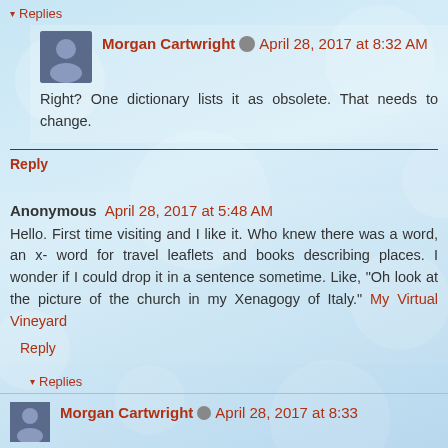▾ Replies
Morgan Cartwright  April 28, 2017 at 8:32 AM
Right? One dictionary lists it as obsolete. That needs to change.
Reply
Anonymous  April 28, 2017 at 5:48 AM
Hello. First time visiting and I like it. Who knew there was a word, an x- word for travel leaflets and books describing places. I wonder if I could drop it in a sentence sometime. Like, "Oh look at the picture of the church in my Xenagogy of Italy." My Virtual Vineyard
Reply
▾ Replies
Morgan Cartwright  April 28, 2017 at 8:33